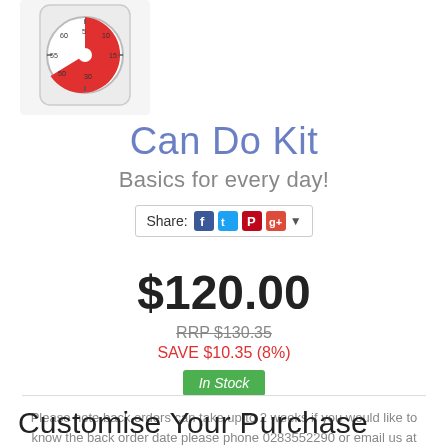[Figure (photo): A time timer / visual timer product image showing a white clock-like timer with a red sector indicating remaining time]
Can Do Kit
Basics for every day!
Share: [Facebook] [Twitter] [Pinterest] [Google+] [dropdown]
$120.00
RRP $130.35
SAVE $10.35 (8%)
In Stock
Please note back orders can take up to 2 weeks if you would like to know the back order date please phone 0283552290 or email us at store@sensorycalm.com.au
Customise Your Purchase